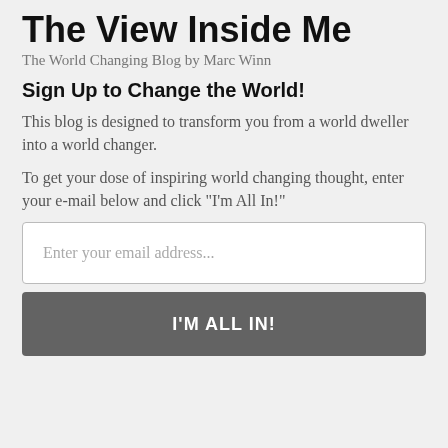The View Inside Me
The World Changing Blog by Marc Winn
Sign Up to Change the World!
This blog is designed to transform you from a world dweller into a world changer.
To get your dose of inspiring world changing thought, enter your e-mail below and click "I'm All In!"
Enter your email address...
I'M ALL IN!